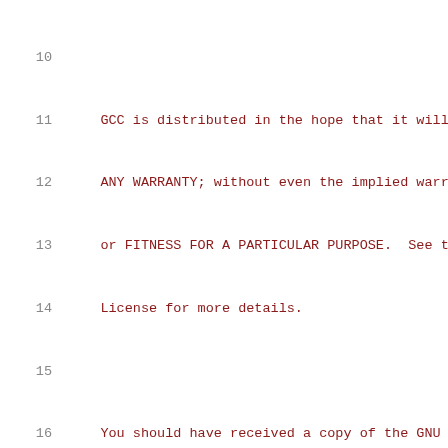Source code listing showing GCC license header and ifcvt.h header guard and struct definition, lines 10-31
11    GCC is distributed in the hope that it will b
12    ANY WARRANTY; without even the implied warran
13    or FITNESS FOR A PARTICULAR PURPOSE.  See the
14    License for more details.
15
16    You should have received a copy of the GNU G
17    along with GCC; see the file COPYING3.  If n
18    <http://www.gnu.org/licenses/>.  */
19
20 #ifndef GCC_IFCVT_H
21 #define GCC_IFCVT_H
22
23 /* Structure to group all of the information to
24    IF-THEN-ELSE blocks for the conditional exec
25
26 struct ce_if_block
27 {
28   basic_block test_bb;                   /* Firs
29   basic_block then_bb;                   /* THEN
30   basic_block else_bb;                   /* ELSE
31   basic_block join_bb;                   /* Join